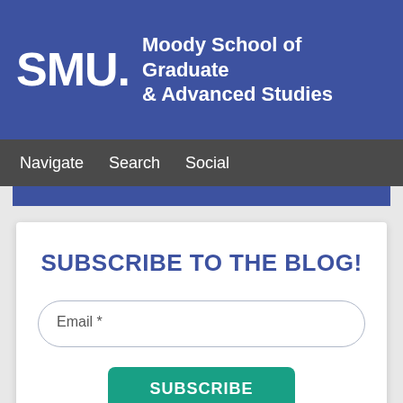SMU. Moody School of Graduate & Advanced Studies
Navigate  Search  Social
SUBSCRIBE TO THE BLOG!
Email *
SUBSCRIBE